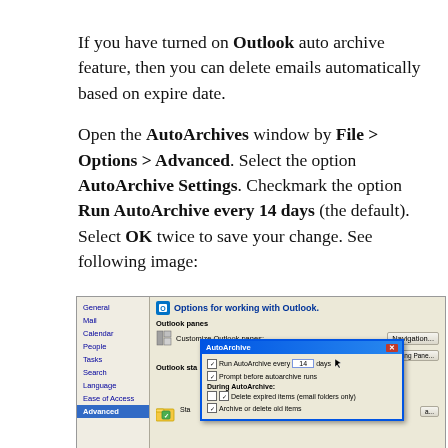If you have turned on Outlook auto archive feature, then you can delete emails automatically based on expire date.
Open the AutoArchives window by File > Options > Advanced. Select the option AutoArchive Settings. Checkmark the option Run AutoArchive every 14 days (the default). Select OK twice to save your change. See following image:
[Figure (screenshot): Screenshot of Microsoft Outlook Advanced Options window with AutoArchive dialog open, showing 'Run AutoArchive every 14 days' checkbox checked with a spin field showing 14 and 'days' label. The AutoArchive dialog includes options like 'Prompt before autoarchive runs', 'During AutoArchive', 'Delete expired items (email folders only)', and 'Archive or delete old items'.]